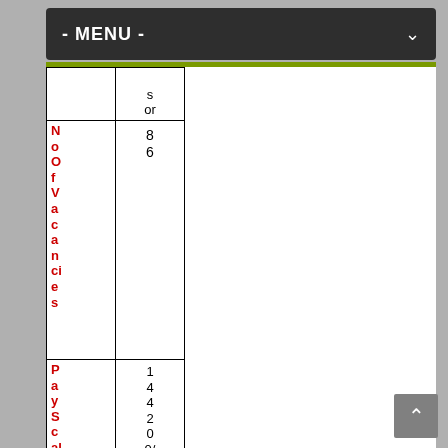- MENU -
|  | s or |
| --- | --- |
| NoOfVacancies | 86 |
| PayScale | 144200/-Level-1 |